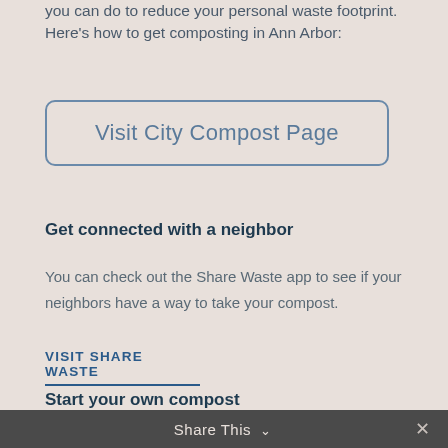you can do to reduce your personal waste footprint. Here's how to get composting in Ann Arbor:
Visit City Compost Page
Get connected with a neighbor
You can check out the Share Waste app to see if your neighbors have a way to take your compost.
VISIT SHARE WASTE
Start your own compost
If you have a yard you can consider making your own compost pile! Here's a good intro how to video.
Share This ∨  ✕